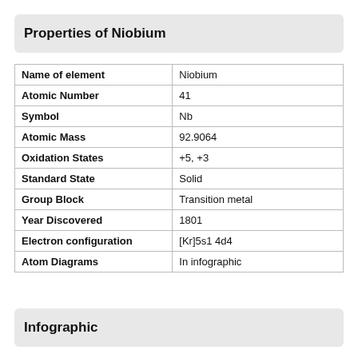Properties of Niobium
| Name of element | Niobium |
| Atomic Number | 41 |
| Symbol | Nb |
| Atomic Mass | 92.9064 |
| Oxidation States | +5, +3 |
| Standard State | Solid |
| Group Block | Transition metal |
| Year Discovered | 1801 |
| Electron configuration | [Kr]5s1 4d4 |
| Atom Diagrams | In infographic |
Infographic